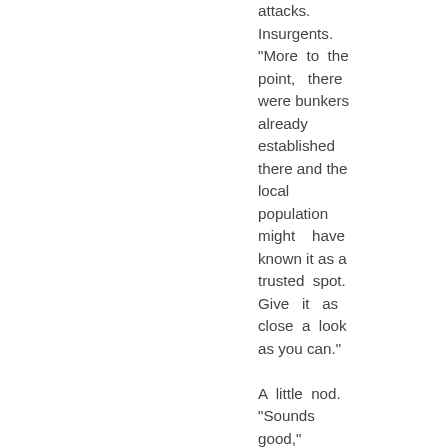attacks. Insurgents. "More to the point, there were bunkers already established there and the local population might have known it as a trusted spot. Give it as close a look as you can."

A little nod. "Sounds good," Mouse smiles. "I'll practice a little bit," She promises. Not TOO